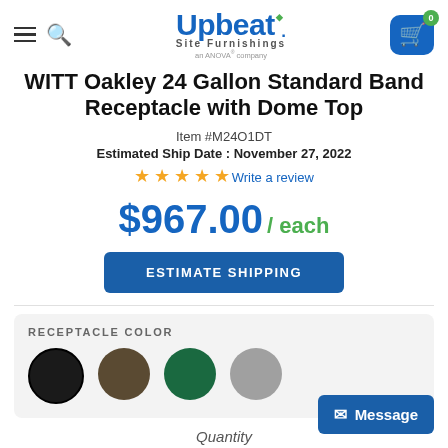Upbeat Site Furnishings — an ANOVA company
WITT Oakley 24 Gallon Standard Band Receptacle with Dome Top
Item #M24O1DT
Estimated Ship Date : November 27, 2022
☆☆☆☆☆ Write a review
$967.00 / each
ESTIMATE SHIPPING
RECEPTACLE COLOR
[Figure (other): Four color swatches: black, dark brown/olive, dark green, gray]
Message
Quantity